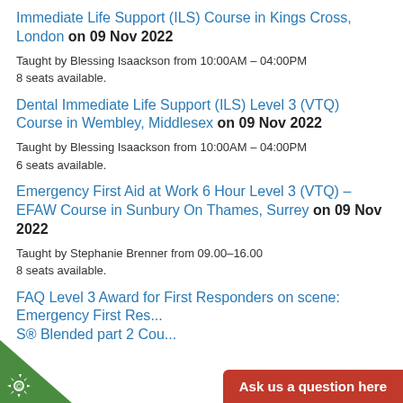Immediate Life Support (ILS) Course in Kings Cross, London on 09 Nov 2022
Taught by Blessing Isaackson from 10:00AM – 04:00PM
8 seats available.
Dental Immediate Life Support (ILS) Level 3 (VTQ) Course in Wembley, Middlesex on 09 Nov 2022
Taught by Blessing Isaackson from 10:00AM – 04:00PM
6 seats available.
Emergency First Aid at Work 6 Hour Level 3 (VTQ) – EFAW Course in Sunbury On Thames, Surrey on 09 Nov 2022
Taught by Stephanie Brenner from 09.00–16.00
8 seats available.
FAQ Level 3 Award for First Responders on scene: Emergency First Res... S® Blended part 2 Cou...